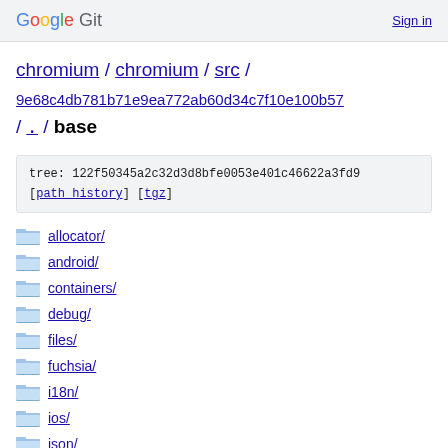Google Git  Sign in
chromium / chromium / src / 9e68c4db781b71e9ea772ab60d34c7f10e100b57 / . / base
tree: 122f50345a2c32d3d8bfe0053e401c46622a3fd9 [path history] [tgz]
allocator/
android/
containers/
debug/
files/
fuchsia/
i18n/
ios/
json/